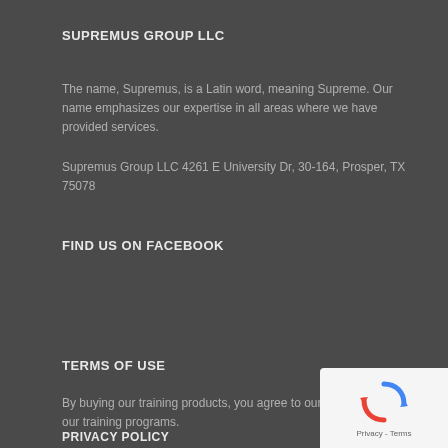SUPREMUS GROUP LLC
The name, Supremus, is a Latin word, meaning Supreme. Our name emphasizes our expertise in all areas where we have provided services.
Supremus Group LLC 4261 E University Dr, 30-164, Prosper, TX 75078
FIND US ON FACEBOOK
TERMS OF USE
By buying our training products, you agree to our terms of use for our training programs.
PRIVACY POLICY
[Figure (logo): reCAPTCHA logo with Privacy and Terms text]